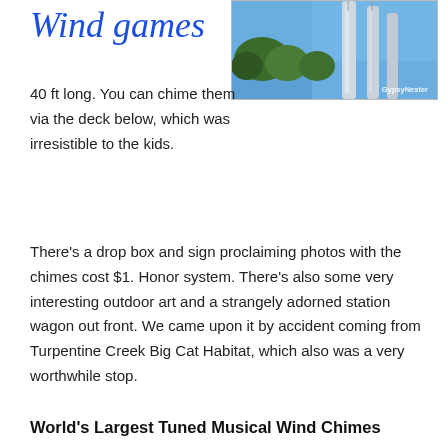Wind games
[Figure (photo): Photo of large metal wind chime pipes against a blue sky with trees, watermark reads 'GypsyNester']
40 ft long. You can chime them via the deck below, which was irresistible to the kids.
There's a drop box and sign proclaiming photos with the chimes cost $1. Honor system. There's also some very interesting outdoor art and a strangely adorned station wagon out front. We came upon it by accident coming from Turpentine Creek Big Cat Habitat, which also was a very worthwhile stop.
World's Largest Tuned Musical Wind Chimes